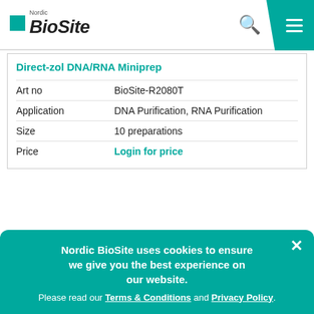Nordic BioSite
Direct-zol DNA/RNA Miniprep
| Field | Value |
| --- | --- |
| Art no | BioSite-R2080T |
| Application | DNA Purification, RNA Purification |
| Size | 10 preparations |
| Price | Login for price |
Direct-zol DNA/RNA Miniprep (Product Supplied with TRI...
Nordic BioSite uses cookies to ensure we give you the best experience on our website. Please read our Terms & Conditions and Privacy Policy.